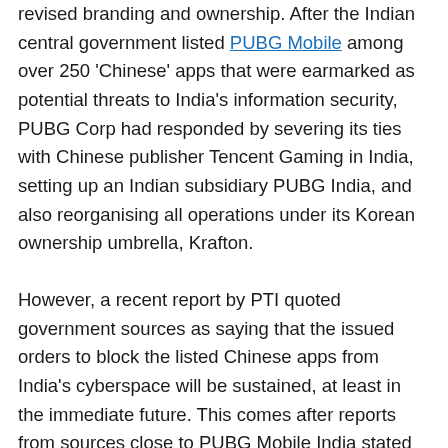revised branding and ownership. After the Indian central government listed PUBG Mobile among over 250 'Chinese' apps that were earmarked as potential threats to India's information security, PUBG Corp had responded by severing its ties with Chinese publisher Tencent Gaming in India, setting up an Indian subsidiary PUBG India, and also reorganising all operations under its Korean ownership umbrella, Krafton.
However, a recent report by PTI quoted government sources as saying that the issued orders to block the listed Chinese apps from India's cyberspace will be sustained, at least in the immediate future. This comes after reports from sources close to PUBG Mobile India stated that despite repeated attempts to approach government officials and schedule a meeting to discuss